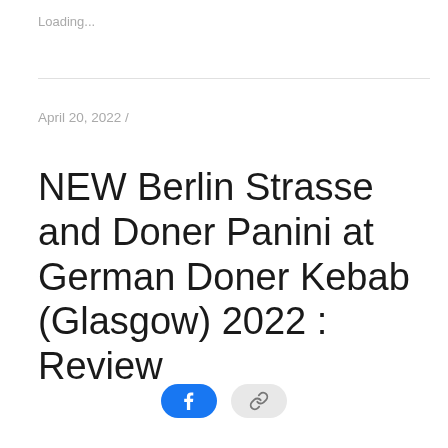Loading...
April 20, 2022 /
NEW Berlin Strasse and Doner Panini at German Doner Kebab (Glasgow) 2022 : Review
[Figure (other): Facebook share button (blue rounded rectangle with Facebook 'f' icon) and a link/share button (grey rounded rectangle with chain link icon)]